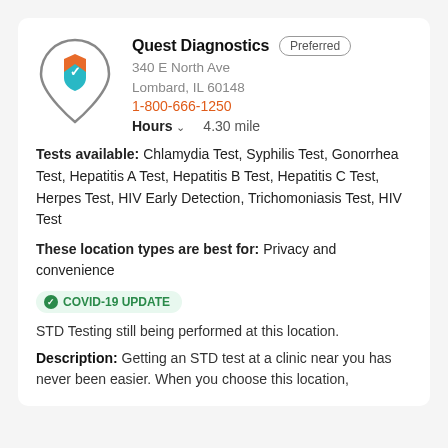[Figure (logo): Location pin icon with orange shield and teal checkmark logo for a healthcare/STD testing service]
Quest Diagnostics
Preferred
340 E North Ave
Lombard, IL 60148
1-800-666-1250
Hours  4.30 mile
Tests available: Chlamydia Test, Syphilis Test, Gonorrhea Test, Hepatitis A Test, Hepatitis B Test, Hepatitis C Test, Herpes Test, HIV Early Detection, Trichomoniasis Test, HIV Test
These location types are best for: Privacy and convenience
COVID-19 UPDATE  STD Testing still being performed at this location.
Description: Getting an STD test at a clinic near you has never been easier. When you choose this location,